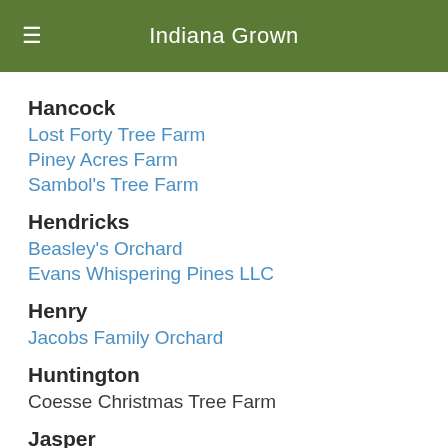Indiana Grown
Hancock
Lost Forty Tree Farm
Piney Acres Farm
Sambol's Tree Farm
Hendricks
Beasley's Orchard
Evans Whispering Pines LLC
Henry
Jacobs Family Orchard
Huntington
Coesse Christmas Tree Farm
Jasper
Fritts Berry Farm LLC
Van Kley's Blueberries